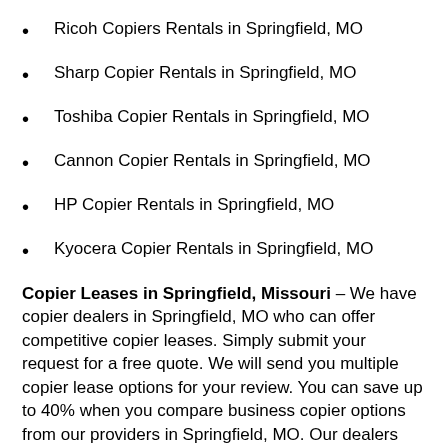Ricoh Copiers Rentals in Springfield, MO
Sharp Copier Rentals in Springfield, MO
Toshiba Copier Rentals in Springfield, MO
Cannon Copier Rentals in Springfield, MO
HP Copier Rentals in Springfield, MO
Kyocera Copier Rentals in Springfield, MO
Copier Leases in Springfield, Missouri – We have copier dealers in Springfield, MO who can offer competitive copier leases. Simply submit your request for a free quote. We will send you multiple copier lease options for your review. You can save up to 40% when you compare business copier options from our providers in Springfield, MO. Our dealers